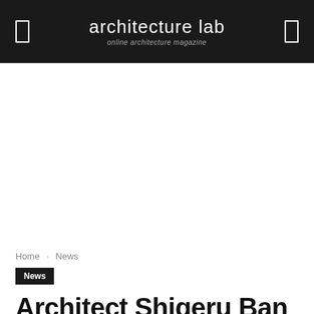architecture lab — online architecture magazine
Home › News
News
Architect Shigeru Ban Turns